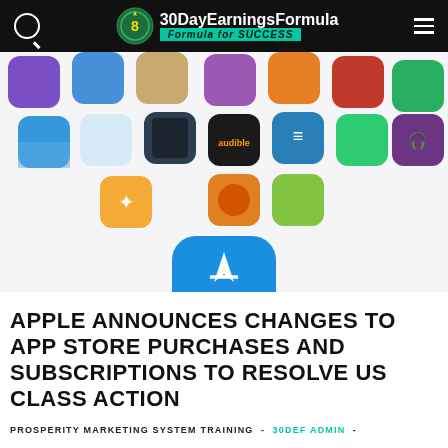30DayEarningsFormula — Formula for SUCCESS
[Figure (screenshot): Apple App Store promotional image showing multiple colorful app icons arranged in a grid pattern, with a large blue App Store icon centered at the bottom, and blurred italic text 'The apps you love.' below it]
APPLE ANNOUNCES CHANGES TO APP STORE PURCHASES AND SUBSCRIPTIONS TO RESOLVE US CLASS ACTION
PROSPERITY MARKETING SYSTEM TRAINING  -  30DEF ADMIN  -